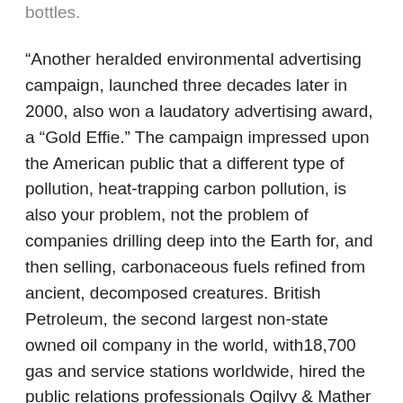bottles.
“Another heralded environmental advertising campaign, launched three decades later in 2000, also won a laudatory advertising award, a “Gold Effie.” The campaign impressed upon the American public that a different type of pollution, heat-trapping carbon pollution, is also your problem, not the problem of companies drilling deep into the Earth for, and then selling, carbonaceous fuels refined from ancient, decomposed creatures. British Petroleum, the second largest non-state owned oil company in the world, with18,700 gas and service stations worldwide, hired the public relations professionals Ogilvy & Mather to promote the slant that climate change is not the fault of an oil giant, but that of individuals.